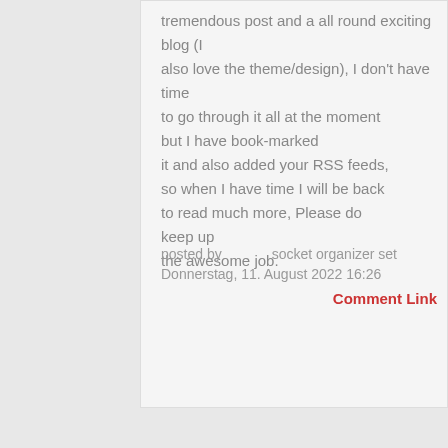tremendous post and a all round exciting blog (I also love the theme/design), I don't have time to go through it all at the moment but I have book-marked it and also added your RSS feeds, so when I have time I will be back to read much more, Please do keep up the awesome job.
posted by      socket organizer set
Donnerstag, 11. August 2022 16:26
Comment Link